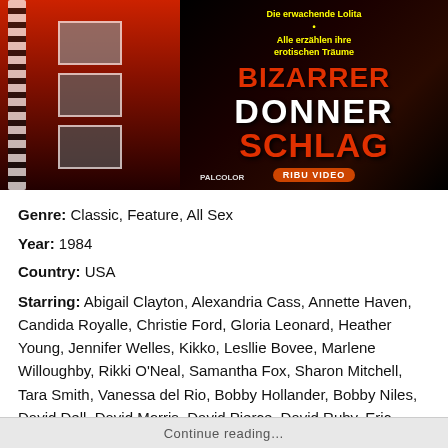[Figure (photo): Movie/VHS cover artwork for 'Bizarrer Donnerschlag' - a dark red and black cover with film strip images on the left, an Oscar statuette in the center, and large stylized text reading 'BIZARRER DONNER SCHLAG' on the right with 'RIBU VIDEO' and 'PALCOLOR' labels]
Genre: Classic, Feature, All Sex
Year: 1984
Country: USA
Starring: Abigail Clayton, Alexandria Cass, Annette Haven, Candida Royalle, Christie Ford, Gloria Leonard, Heather Young, Jennifer Welles, Kikko, Lesllie Bovee, Marlene Willoughby, Rikki O'Neal, Samantha Fox, Sharon Mitchell, Tara Smith, Vanessa del Rio, Bobby Hollander, Bobby Niles, David Dell, David Morris, David Pierce, David Ruby, Eric Edwards, Joey Silvera, Marc Valentine, Michael Gaunt, Michael Thorpe, Philip Marlowe, Wade Nichols